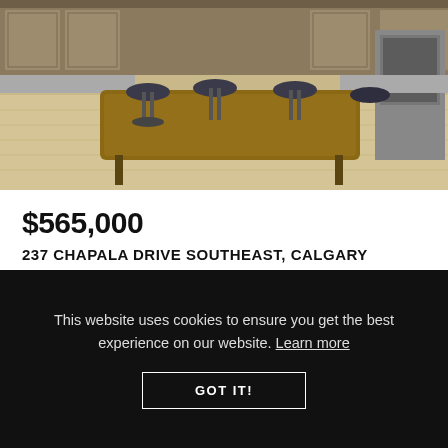[Figure (photo): Interior kitchen/dining area photo showing a wooden dining table with dark metal bar stools, light hardwood floors, kitchen cabinetry and stainless appliances in the background.]
$565,000
237 CHAPALA DRIVE SOUTHEAST, CALGARY
2 Beds • 2.5 Baths • 1,407 SqFt
RE/MAX FIRST
1 2 3 4 190
This website uses cookies to ensure you get the best experience on our website. Learn more
GOT IT!